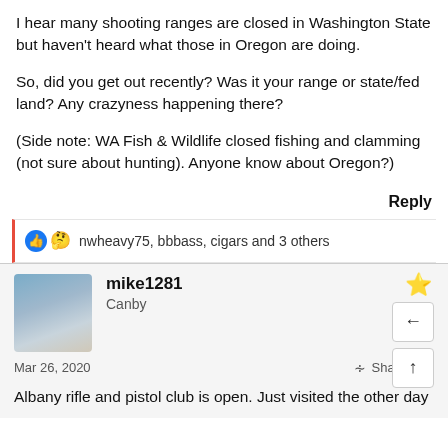I hear many shooting ranges are closed in Washington State but haven't heard what those in Oregon are doing.
So, did you get out recently? Was it your range or state/fed land? Any crazyness happening there?
(Side note: WA Fish & Wildlife closed fishing and clamming (not sure about hunting). Anyone know about Oregon?)
Reply
nwheavy75, bbbass, cigars and 3 others
mike1281
Canby
Mar 26, 2020
Share  #2
Albany rifle and pistol club is open. Just visited the other day